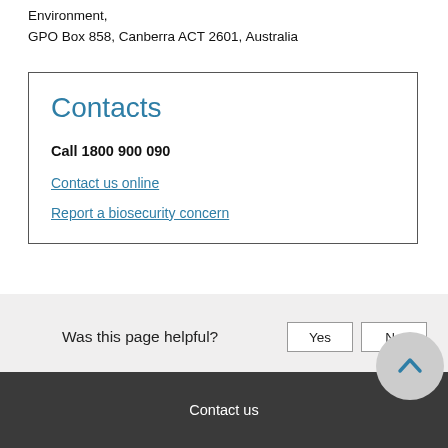Environment,
GPO Box 858, Canberra ACT 2601, Australia
Contacts
Call 1800 900 090
Contact us online
Report a biosecurity concern
Was this page helpful?
Contact us